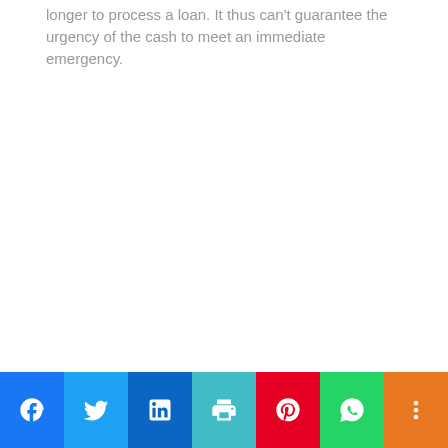longer to process a loan. It thus can't guarantee the urgency of the cash to meet an immediate emergency.
Social share bar: Facebook, Twitter, LinkedIn, Print, Pinterest, WhatsApp, More